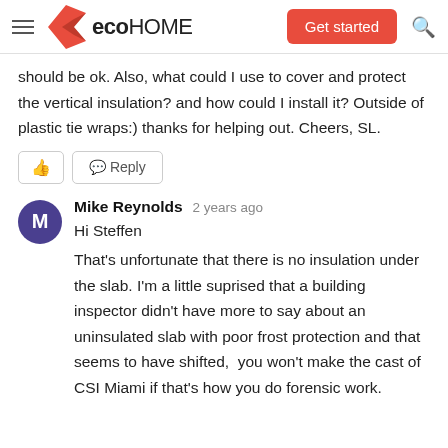ecoHOME — Get started
should be ok. Also, what could I use to cover and protect the vertical insulation? and how could I install it? Outside of plastic tie wraps:) thanks for helping out. Cheers, SL.
Mike Reynolds  2 years ago
Hi Steffen

That's unfortunate that there is no insulation under the slab. I'm a little suprised that a building inspector didn't have more to say about an uninsulated slab with poor frost protection and that seems to have shifted,  you won't make the cast of CSI Miami if that's how you do forensic work.